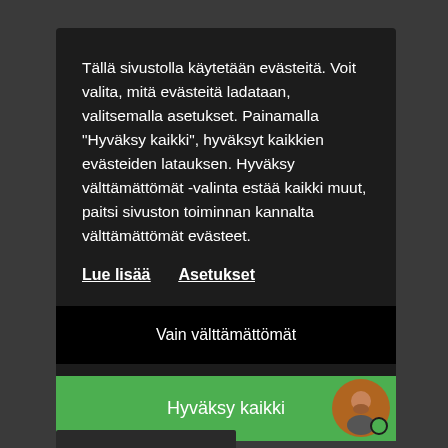Tällä sivustolla käytetään evästeitä. Voit valita, mitä evästeitä ladataan, valitsemalla asetukset. Painamalla "Hyväksy kaikki", hyväksyt kaikkien evästeiden latauksen. Hyväksy välttämättömät -valinta estää kaikki muut, paitsi sivuston toiminnan kannalta välttämättömät evästeet.
Lue lisää    Asetukset
Vain välttämättömät
Hyväksy kaikki